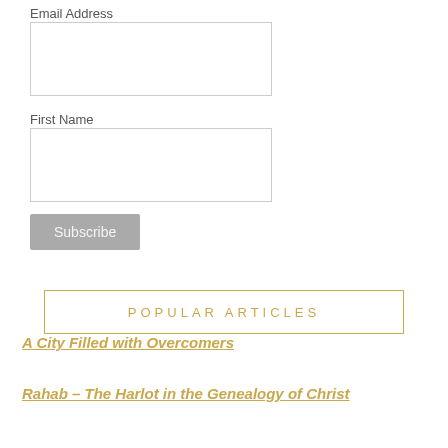Email Address
First Name
Subscribe
POPULAR ARTICLES
A City Filled with Overcomers
Rahab – The Harlot in the Genealogy of Christ